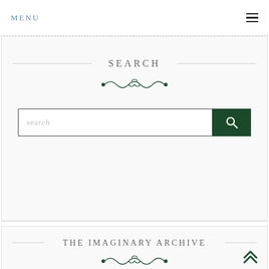MENU
SEARCH
[Figure (illustration): Decorative ornamental divider in dark green]
search
THE IMAGINARY ARCHIVE
[Figure (illustration): Decorative ornamental divider in dark green]